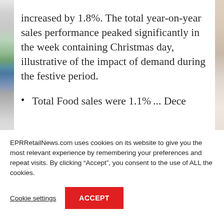increased by 1.8%. The total year-on-year sales performance peaked significantly in the week containing Christmas day, illustrative of the impact of demand during the festive period.
Total Food sales were 1.1%... December...
EPRRetailNews.com uses cookies on its website to give you the most relevant experience by remembering your preferences and repeat visits. By clicking “Accept”, you consent to the use of ALL the cookies.
Cookie settings | ACCEPT